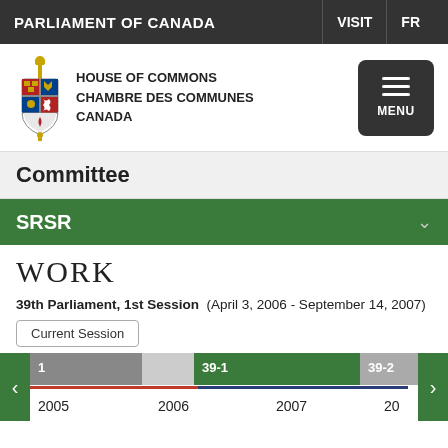PARLIAMENT OF CANADA   VISIT   FR
[Figure (logo): House of Commons / Chambre des Communes Canada crest and wordmark logo with navigation menu button]
Committee
SRSR
WORK
39th Parliament, 1st Session (April 3, 2006 - September 14, 2007)
Current Session
[Figure (infographic): Timeline showing parliamentary sessions: segment 1 (gray), 39-1 (green), 39-2 (gray), with years 2005, 2006, 2007, 20 on x-axis and red/blue lines below]